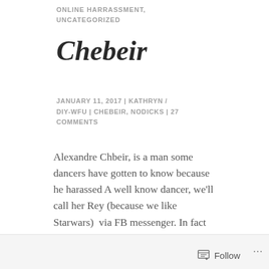ONLINE HARRASSMENT, UNCATEGORIZED
Chebeir
JANUARY 11, 2017 | KATHRYN / DIY-WFU | CHEBEIR, NODICKS | 27 COMMENTS
Alexandre Chbeir, is a man some dancers have gotten to know because he harassed A well know dancer, we'll call her Rey (because we like Starwars)  via FB messenger. In fact he uses multiple social media sites to harass women. Multitasker!
Follow ...